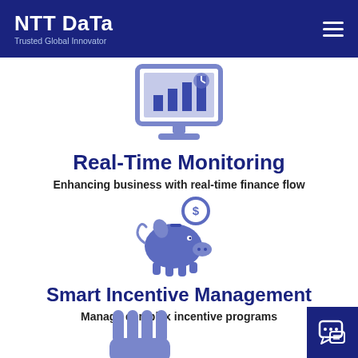NTT DATA — Trusted Global Innovator
[Figure (illustration): Blue icon of a computer monitor displaying a bar chart with analytics]
Real-Time Monitoring
Enhancing business with real-time finance flow
[Figure (illustration): Blue icon of a piggy bank with a dollar coin above it]
Smart Incentive Management
Manage complex incentive programs
[Figure (illustration): Blue icon of a hand with fingers raised, partially visible at bottom of page]